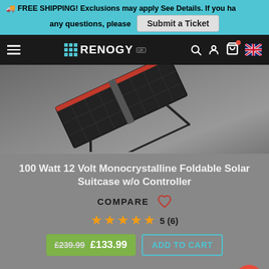🚚 FREE SHIPPING! Exclusions may apply See Details. If you have any questions, please [Submit a Ticket]
[Figure (screenshot): Renogy UK website navigation bar with hamburger menu, logo, search, account, cart, and UK flag icons on dark background]
[Figure (photo): 100 Watt 12 Volt Monocrystalline Foldable Solar Suitcase product photo on grey gradient background]
100 Watt 12 Volt Monocrystalline Foldable Solar Suitcase w/o Controller
COMPARE ♡
★★★★★ 5 (6)
£239.99  £133.99  ADD TO CART